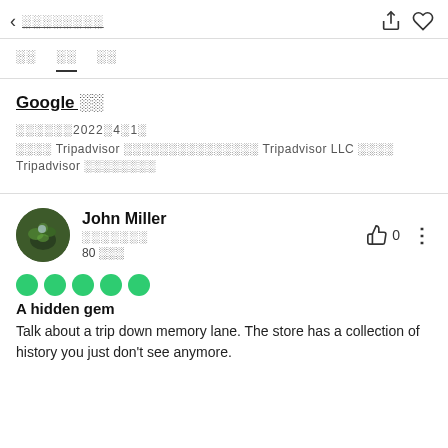< ░░░░░░░░
░░  ░░  ░░
Google ░░
░░░░░░2022░4░1░
░░░░ Tripadvisor ░░░░░░░░░░░░░░░ Tripadvisor LLC ░░░░ Tripadvisor ░░░░░░░░
John Miller
░░░░░░░
80 ░░░
[Figure (illustration): Five green filled circles in a row representing a 5-dot rating]
A hidden gem
Talk about a trip down memory lane. The store has a collection of history you just don't see anymore.